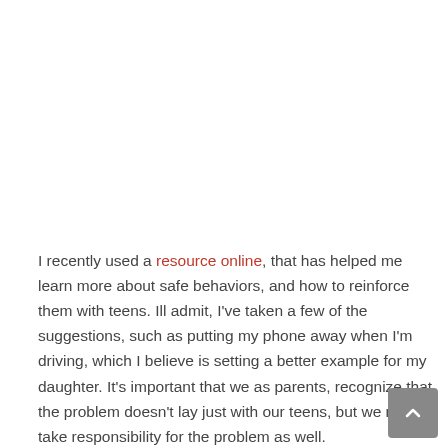I recently used a resource online, that has helped me learn more about safe behaviors, and how to reinforce them with teens. Ill admit, I've taken a few of the suggestions, such as putting my phone away when I'm driving, which I believe is setting a better example for my daughter. It's important that we as parents, recognize that the problem doesn't lay just with our teens, but we need to take responsibility for the problem as well.